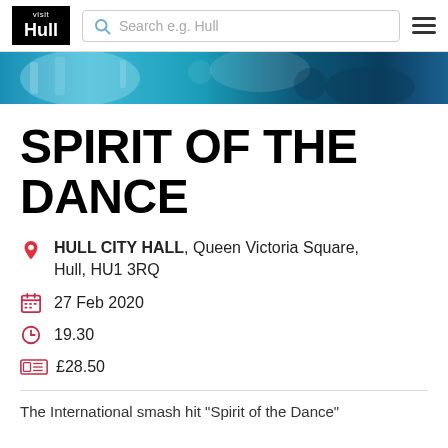Visit Hull — Search e.g. Hull — Navigation menu
[Figure (photo): Colourful dance performers in sparkly costumes, turquoise and blue tones, hero banner strip]
SPIRIT OF THE DANCE
HULL CITY HALL, Queen Victoria Square, Hull, HU1 3RQ
27 Feb 2020
19.30
£28.50
The International smash hit "Spirit of the Dance"